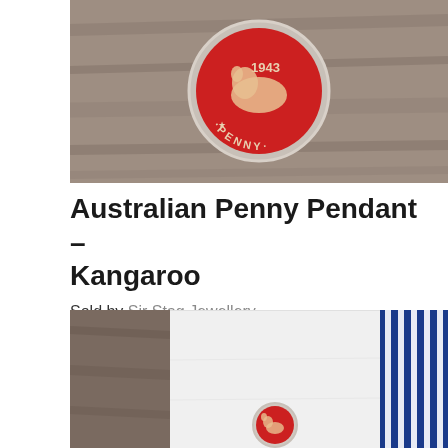[Figure (photo): Close-up photo of a red Australian penny pendant with kangaroo design on a wooden surface]
Australian Penny Pendant – Kangaroo
Sold by Sir Stag Jewellery
$60.00
[Figure (photo): Photo of a red Australian penny cufflink on a white shirt cuff with blue striped fabric visible]